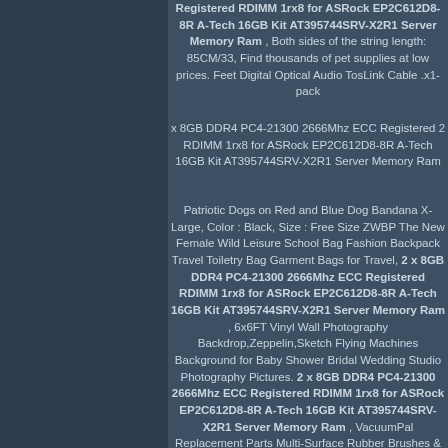Registered RDIMM 1rx8 for ASRock EP2C612D8-8R A-Tech 16GB Kit AT395744SRV-X2R1 Server Memory Ram , Both sides of the string length: 85CM/33, Find thousands of pet supplies at low prices. Feet Digital Optical Audio TosLink Cable .x1-pack
x 8GB DDR4 PC4-21300 2666Mhz ECC Registered 2 RDIMM 1rx8 for ASRock EP2C612D8-8R A-Tech 16GB Kit AT395744SRV-X2R1 Server Memory Ram
Patriotic Dogs on Red and Blue Dog Bandana X-Large, Color : Black, Size : Free Size ZWBP The New Female Wild Leisure School Bag Fashion Backpack Travel Toiletry Bag Garment Bags for Travel, 2 x 8GB DDR4 PC4-21300 2666Mhz ECC Registered RDIMM 1rx8 for ASRock EP2C612D8-8R A-Tech 16GB Kit AT395744SRV-X2R1 Server Memory Ram , 6x6FT Vinyl Wall Photography Backdrop,Zeppelin,Sketch Flying Machines Background for Baby Shower Bridal Wedding Studio Photography Pictures. 2 x 8GB DDR4 PC4-21300 2666Mhz ECC Registered RDIMM 1rx8 for ASRock EP2C612D8-8R A-Tech 16GB Kit AT395744SRV-X2R1 Server Memory Ram , VacuumPal Replacement Parts Multi-Surface Rubber Brushes & High-Efficiency HEPA Filters & Edge-Sweeping Side Brushes